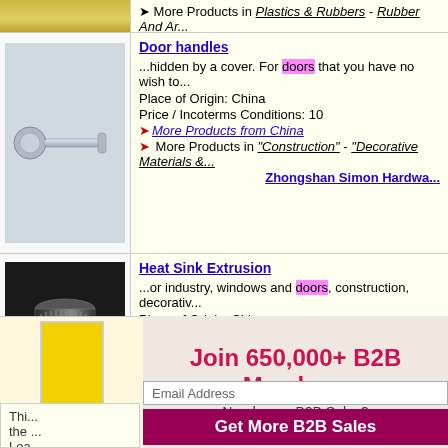More Products in "Plastics & Rubbers" - "Rubber And Ar... Wujiang Aotemake Rubb...
Door handles
...hidden by a cover. For doors that you have no wish to...
Place of Origin: China
Price / Incoterms Conditions: 10
► More Products from China
► More Products in "Construction" - "Decorative Materials &...
Zhongshan Simon Hardwa...
[Figure (photo): Photo of a chrome door handle on a round rose plate]
Heat Sink Extrusion
...or industry, windows and doors, construction, decorativ...
Place of Origin: China
Price / Incoterms Conditions: Not Specified
► More Products from China
► More Products in "Mineral Products" - "Mineral Fuels & O...
[Figure (photo): Photo of a cylindrical heat sink extrusion aluminum tube]
Join 650,000+ B2B Members
Need more B2B Sales?
Email Address
Get More B2B Sales
Thi...
the ...
Lea...